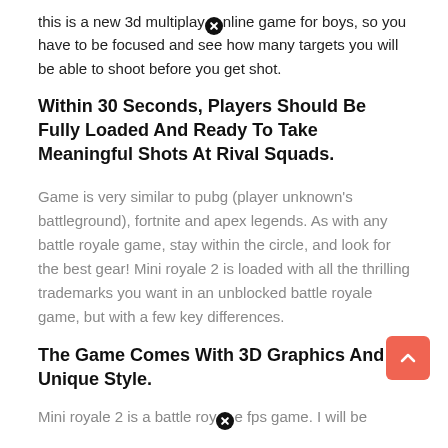this is a new 3d multiplayer online game for boys, so you have to be focused and see how many targets you will be able to shoot before you get shot.
Within 30 Seconds, Players Should Be Fully Loaded And Ready To Take Meaningful Shots At Rival Squads.
Game is very similar to pubg (player unknown's battleground), fortnite and apex legends. As with any battle royale game, stay within the circle, and look for the best gear! Mini royale 2 is loaded with all the thrilling trademarks you want in an unblocked battle royale game, but with a few key differences.
The Game Comes With 3D Graphics And Unique Style.
Mini royale 2 is a battle royale fps game. I will be